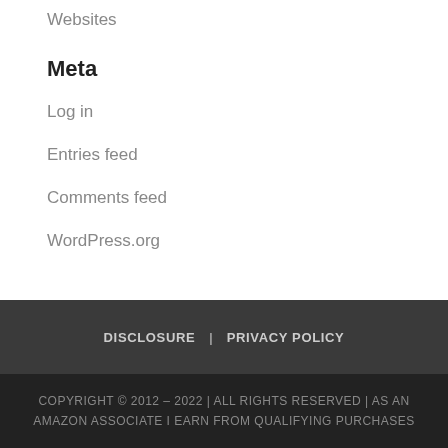Websites
Meta
Log in
Entries feed
Comments feed
WordPress.org
DISCLOSURE   PRIVACY POLICY
COPYRIGHT © 2012 – 2022 | ALL RIGHTS RESERVED | AS AN AMAZON ASSOCIATE I EARN FROM QUALIFYING PURCHASES